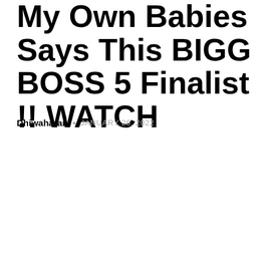My Own Babies Says This BIGG BOSS 5 Finalist !! WATCH
Dhiwaharan • JANUARY 26, 2022